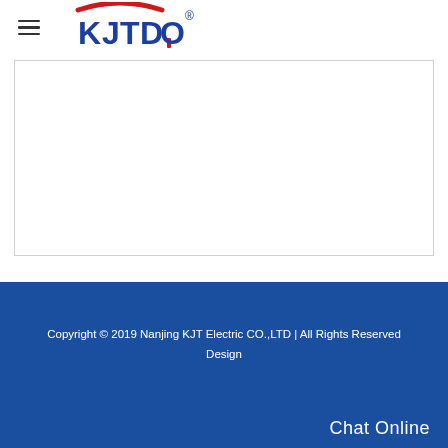KJTDO logo and navigation menu
[Figure (logo): KJTDO company logo with red arc and blue text, registered trademark symbol]
Copyright © 2019 Nanjing KJT Electric CO.,LTD | All Rights Reserved Design
Chat Online